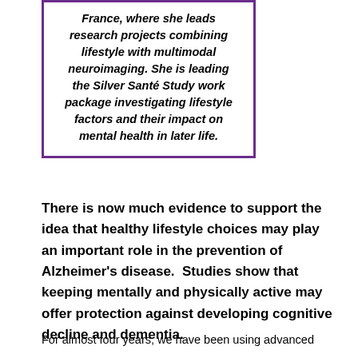France, where she leads research projects combining lifestyle with multimodal neuroimaging. She is leading the Silver Santé Study work package investigating lifestyle factors and their impact on mental health in later life.
There is now much evidence to support the idea that healthy lifestyle choices may play an important role in the prevention of Alzheimer's disease.  Studies show that keeping mentally and physically active may offer protection against developing cognitive decline and dementia.
For almost four years, we have been using advanced